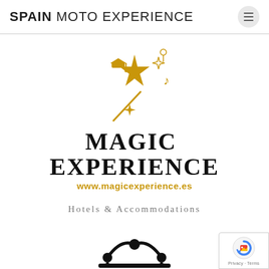SPAIN MOTO EXPERIENCE
[Figure (logo): Magic Experience logo: golden magic wand with star, graduation cap, sparkles, and musical note]
MAGIC EXPERIENCE
www.magicexperience.es
Hotels & Accommodations
[Figure (logo): Paradores logo: stylized arch with dots representing people, black symbol]
PARADORES (partial, cut off at bottom)